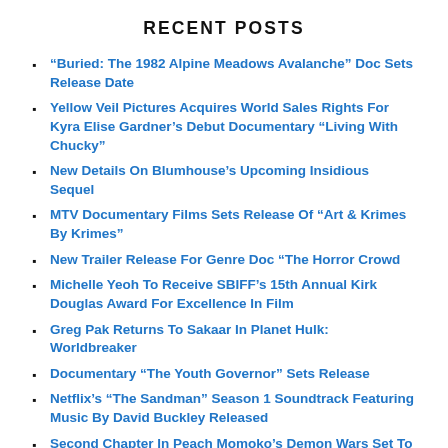RECENT POSTS
“Buried: The 1982 Alpine Meadows Avalanche” Doc Sets Release Date
Yellow Veil Pictures Acquires World Sales Rights For Kyra Elise Gardner’s Debut Documentary “Living With Chucky”
New Details On Blumhouse’s Upcoming Insidious Sequel
MTV Documentary Films Sets Release Of “Art & Krimes By Krimes”
New Trailer Release For Genre Doc “The Horror Crowd
Michelle Yeoh To Receive SBIFF’s 15th Annual Kirk Douglas Award For Excellence In Film
Greg Pak Returns To Sakaar In Planet Hulk: Worldbreaker
Documentary “The Youth Governor” Sets Release
Netflix’s “The Sandman” Season 1 Soundtrack Featuring Music By David Buckley Released
Second Chapter In Peach Momoko’s Demon Wars Set To Arrive In November